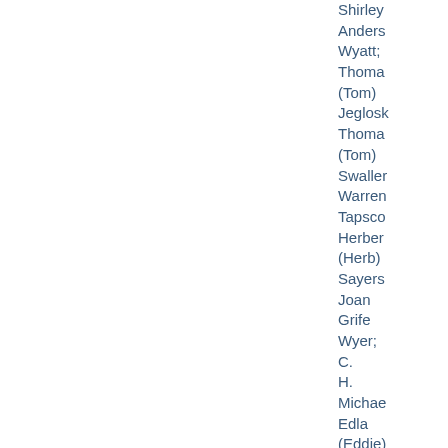Shirley Anders Wyatt; Thomas (Tom) Jeglosk Thomas (Tom) Swallen Warren Tapsco Herbert (Herb) Sayers Joan Grife Wyer; C. H. Michael Edla (Eddie) Einck Berggre Roger Doney; Mary Boyto Henkle Robert Hankl